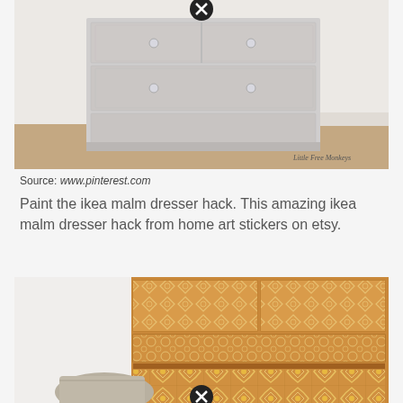[Figure (photo): Silver/grey painted IKEA Malm dresser with embossed pattern, silver knobs, on wooden floor against white wall. Watermark: Little Free Monkeys. Close button at top center.]
Source: www.pinterest.com
Paint the ikea malm dresser hack. This amazing ikea malm dresser hack from home art stickers on etsy.
[Figure (photo): IKEA Malm dresser decorated with golden/ochre patterned stickers featuring geometric and floral tile designs. Close button at bottom center.]